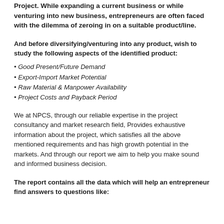Project. While expanding a current business or while venturing into new business, entrepreneurs are often faced with the dilemma of zeroing in on a suitable product/line.
And before diversifying/venturing into any product, wish to study the following aspects of the identified product:
• Good Present/Future Demand
• Export-Import Market Potential
• Raw Material & Manpower Availability
• Project Costs and Payback Period
We at NPCS, through our reliable expertise in the project consultancy and market research field, Provides exhaustive information about the project, which satisfies all the above mentioned requirements and has high growth potential in the markets. And through our report we aim to help you make sound and informed business decision.
The report contains all the data which will help an entrepreneur find answers to questions like: